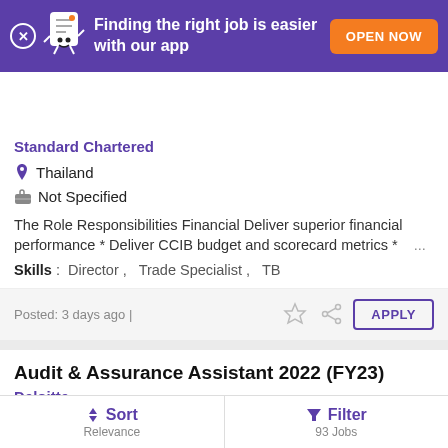[Figure (screenshot): Purple banner with Monster app mascot, text 'Finding the right job is easier with our app' and orange 'OPEN NOW' button]
monster
Standard Chartered
Thailand
Not Specified
The Role Responsibilities Financial Deliver superior financial performance * Deliver CCIB budget and scorecard metrics * ...
Skills : Director , Trade Specialist , TB
Posted: 3 days ago |
Audit & Assurance Assistant 2022 (FY23)
Deloitte
Sort Relevance | Filter 93 Jobs